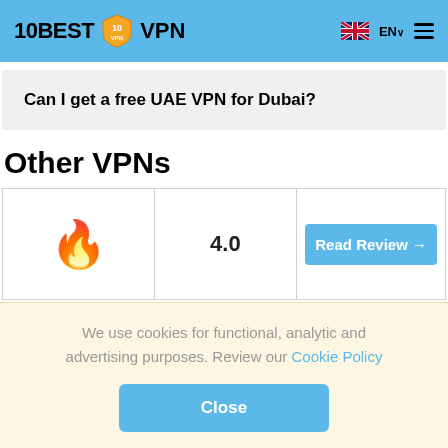10BEST VPN
Can I get a free UAE VPN for Dubai?
Other VPNs
| Logo | Rating | Action |
| --- | --- | --- |
| 🔥 | 4.0 | Read Review → |
We use cookies for functional, analytic and advertising purposes. Review our Cookie Policy
Close